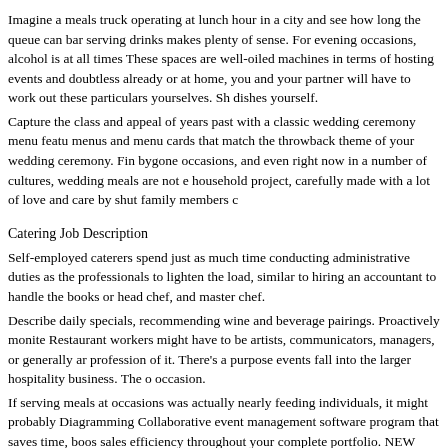Imagine a meals truck operating at lunch hour in a city and see how long the queue can bar serving drinks makes plenty of sense. For evening occasions, alcohol is at all times These spaces are well-oiled machines in terms of hosting events and doubtless already or at home, you and your partner will have to work out these particulars yourselves. Sh dishes yourself.
Capture the class and appeal of years past with a classic wedding ceremony menu featu menus and menu cards that match the throwback theme of your wedding ceremony. Fin bygone occasions, and even right now in a number of cultures, wedding meals are not e household project, carefully made with a lot of love and care by shut family members c
Catering Job Description
Self-employed caterers spend just as much time conducting administrative duties as the professionals to lighten the load, similar to hiring an accountant to handle the books or head chef, and master chef.
Describe daily specials, recommending wine and beverage pairings. Proactively monite Restaurant workers might have to be artists, communicators, managers, or generally ar profession of it. There's a purpose events fall into the larger hospitality business. The o occasion.
If serving meals at occasions was actually nearly feeding individuals, it might probably Diagramming Collaborative event management software program that saves time, boos sales efficiency throughout your complete portfolio. NEW Client Services Get all of th Diagram events, wow attendees, and win purchasers with free planning instruments.